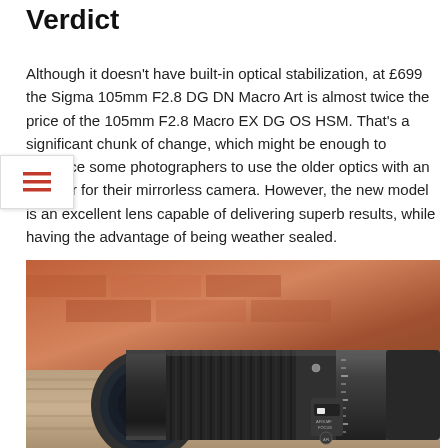Verdict
Although it doesn't have built-in optical stabilization, at £699 the Sigma 105mm F2.8 DG DN Macro Art is almost twice the price of the 105mm F2.8 Macro EX DG OS HSM. That's a significant chunk of change, which might be enough to convince some photographers to use the older optics with an adapter for their mirrorless camera. However, the new model is an excellent lens capable of delivering superb results, while having the advantage of being weather sealed.
[Figure (photo): Photo of the Sigma 105mm F2.8 DG DN Macro Art lens lying on a wooden surface with a blurred brick background. The lens is black with ribbed focus ring and has a focus mode switch on the barrel.]